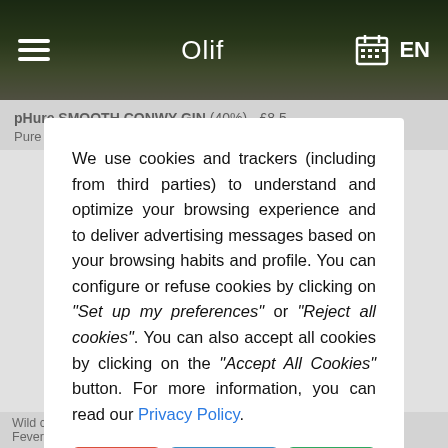Olif  EN
pHure SMOOTH CONWY GIN (40%) - £8.5
Pure and smooth juniper rich botanical gin which can be drink
We use cookies and trackers (including from third parties) to understand and optimize your browsing experience and to deliver advertising messages based on your browsing habits and profile. You can configure or refuse cookies by clicking on "Set up my preferences" or "Reject all cookies". You can also accept all cookies by clicking on the "Accept All Cookies" button. For more information, you can read our Privacy Policy.
Reject all cookies
Set up my preferences
Accept all cookies
Wild crab apples, blackberries and succulent bilberries. Paired with Fever-Tree Indian Tonic, juniper berries & blackberries